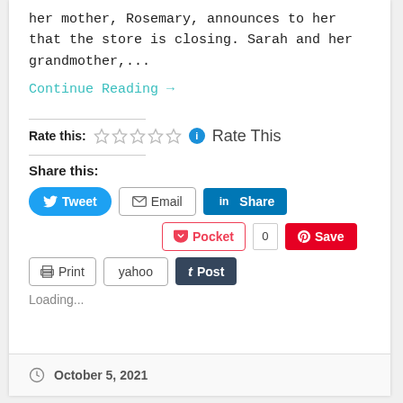her mother, Rosemary, announces to her that the store is closing. Sarah and her grandmother,...
Continue Reading →
Rate this: ☆☆☆☆☆ ℹ Rate This
Share this:
Tweet | Email | Share | Pocket | 0 | Save | Print | yahoo | Post
Loading...
October 5, 2021